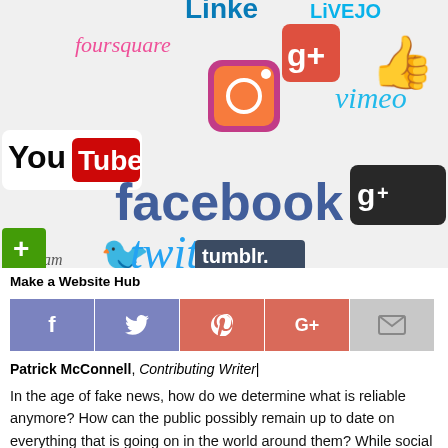[Figure (illustration): Social media logos collage including Facebook, Twitter, YouTube, Instagram, Pinterest, Flickr, Foursquare, Google+, Tumblr, Vimeo, Blogger, LinkedIn, LiveJournal, Behance, Yelp, Like button icons]
Make a Website Hub
[Figure (infographic): Social media share bar with Facebook (f), Twitter (bird), Pinterest (p), Google+ (G+), and email icons]
Patrick McConnell, Contributing Writer|
In the age of fake news, how do we determine what is reliable anymore? How can the public possibly remain up to date on everything that is going on in the world around them? While social media might not be an entirely credible source for